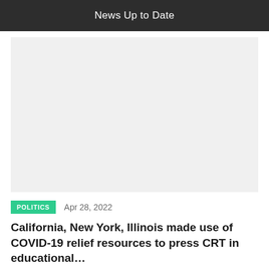News Up to Date
[Figure (other): Gray placeholder image area for article thumbnail]
POLITICS   Apr 28, 2022
California, New York, Illinois made use of COVID-19 relief resources to press CRT in educational…
[Figure (other): Gray placeholder image area for second article thumbnail]